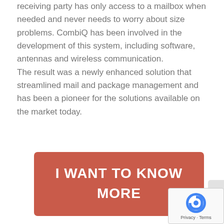receiving party has only access to a mailbox when needed and never needs to worry about size problems. CombiQ has been involved in the development of this system, including software, antennas and wireless communication. The result was a newly enhanced solution that streamlined mail and package management and has been a pioneer for the solutions available on the market today.
[Figure (other): Red rounded rectangle button with white bold text 'I WANT TO KNOW MORE' and a chat bubble icon on the right side]